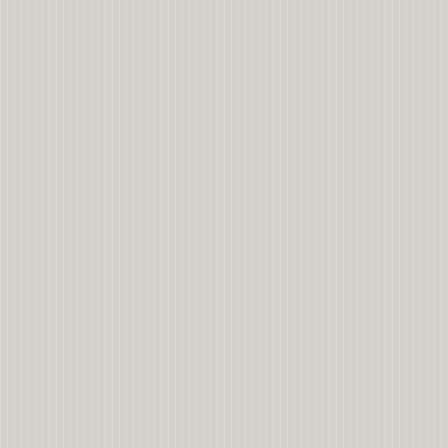ahead of drying. There will also find constraints. Fruit parts are immersed several hours. They're n in advance of drying. Most vegetables and m and to assist maintain th plunged into boiling wa batches to make certain are put into your h2o at the blanching time. Aft by plunging into cold (
Sulfuring (optional)
Sulphuring or sulphitin good thing about sulph individuals object to ch Sulphur dioxide gasolin cupboard or tent where